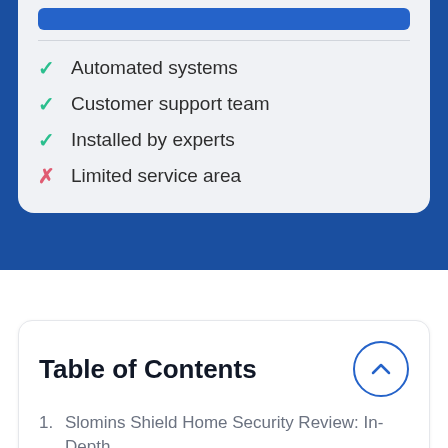✓ Automated systems
✓ Customer support team
✓ Installed by experts
✗ Limited service area
Table of Contents
1. Slomins Shield Home Security Review: In-Depth
2. Key Features: Premium Alarm System